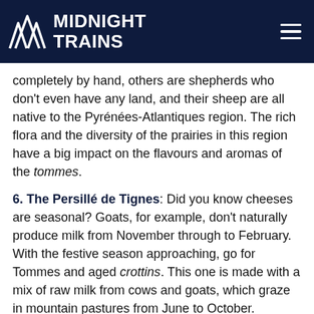MIDNIGHT TRAINS
completely by hand, others are shepherds who don't even have any land, and their sheep are all native to the Pyrénées-Atlantiques region. The rich flora and the diversity of the prairies in this region have a big impact on the flavours and aromas of the tommes.
6. The Persillé de Tignes: Did you know cheeses are seasonal? Goats, for example, don't naturally produce milk from November through to February. With the festive season approaching, go for Tommes and aged crottins. This one is made with a mix of raw milk from cows and goats, which graze in mountain pastures from June to October.
7. [badge] creamy Tomme from the Ferme du Bois Jébert: Yet another cheese supported by Slow Food, with its 25 Bretonne Pie Noir cows, which